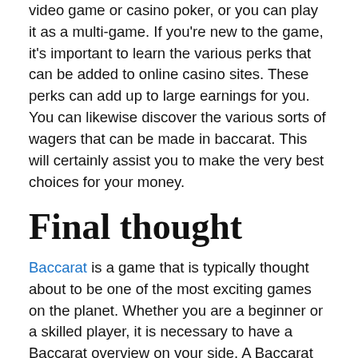video game or casino poker, or you can play it as a multi-game. If you're new to the game, it's important to learn the various perks that can be added to online casino sites. These perks can add up to large earnings for you. You can likewise discover the various sorts of wagers that can be made in baccarat. This will certainly assist you to make the very best choices for your money.
Final thought
Baccarat is a game that is typically thought about to be one of the most exciting games on the planet. Whether you are a beginner or a skilled player, it is necessary to have a Baccarat overview on your side. A Baccarat overview can help you to play the game much better and also to win even more money. A Baccarat overview can also educate you the different methods that can assist you win more money. A Baccarat guide can also aid you to learn about the video game as well as to comprehend the different rules. A